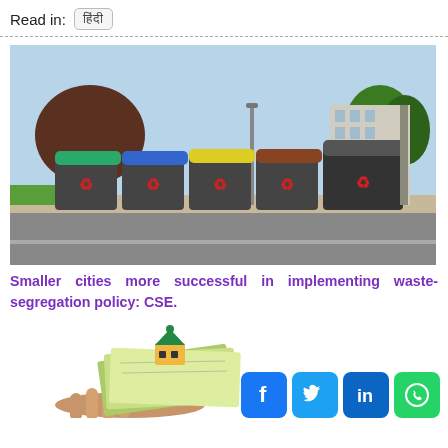Read in:
[Figure (photo): Row of colorful waste segregation bins (green, blue, yellow, brown, grey) on a street with trees and buildings in background]
Smaller cities more successful in implementing waste-segregation policy: CSE.
[Figure (photo): Hand holding Indian currency notes with a small model house on top]
[Figure (infographic): Social media share icons: Facebook, Twitter, LinkedIn, WhatsApp]